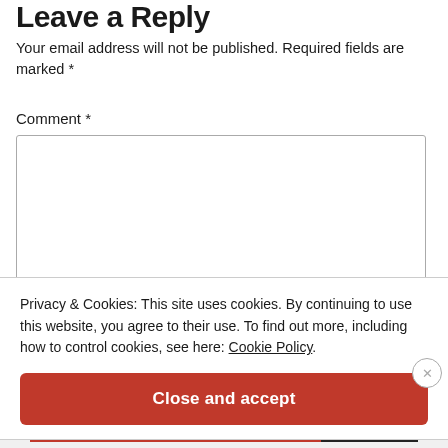Leave a Reply
Your email address will not be published. Required fields are marked *
Comment *
Privacy & Cookies: This site uses cookies. By continuing to use this website, you agree to their use. To find out more, including how to control cookies, see here: Cookie Policy
Close and accept